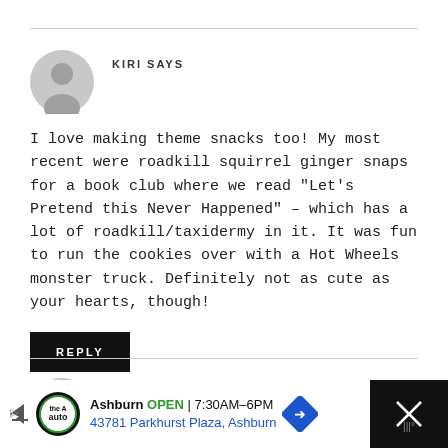KIRI SAYS
I love making theme snacks too! My most recent were roadkill squirrel ginger snaps for a book club where we read "Let's Pretend this Never Happened" – which has a lot of roadkill/taxidermy in it. It was fun to run the cookies over with a Hot Wheels monster truck. Definitely not as cute as your hearts, though!
REPLY
NICHOLE SAYS
Ashburn OPEN 7:30AM–6PM 43781 Parkhurst Plaza, Ashburn